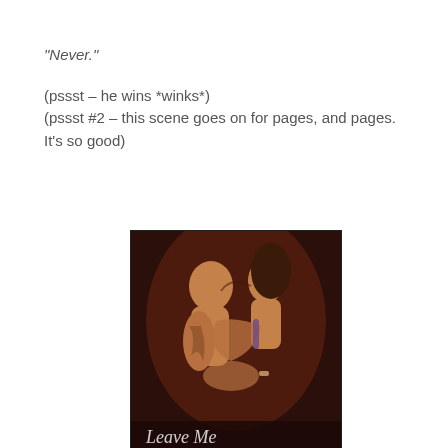"Never."

(pssst – he wins *winks*)
(pssst #2 – this scene goes on for pages, and pages. It's so good)
[Figure (photo): Book cover image showing two people in an intimate embrace/kiss, one with a tattoo on their arm. Text at the bottom appears to read something partially visible.]